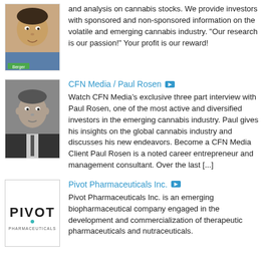and analysis on cannabis stocks. We provide investors with sponsored and non-sponsored information on the volatile and emerging cannabis industry. "Our research is our passion!" Your profit is our reward!
CFN Media / Paul Rosen
Watch CFN Media’s exclusive three part interview with Paul Rosen, one of the most active and diversified investors in the emerging cannabis industry. Paul gives his insights on the global cannabis industry and discusses his new endeavors. Become a CFN Media Client Paul Rosen is a noted career entrepreneur and management consultant. Over the last [...]
Pivot Pharmaceuticals Inc.
Pivot Pharmaceuticals Inc. is an emerging biopharmaceutical company engaged in the development and commercialization of therapeutic pharmaceuticals and nutraceuticals.